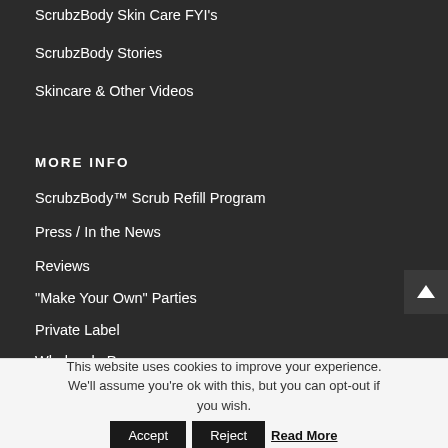ScrubzBody Skin Care FYI's
ScrubzBody Stories
Skincare & Other Videos
MORE INFO
ScrubzBody™ Scrub Refill Program
Press / In the News
Reviews
“Make Your Own” Parties
Private Label
Wholesale Program
This website uses cookies to improve your experience. We'll assume you're ok with this, but you can opt-out if you wish.
Accept  Reject  Read More